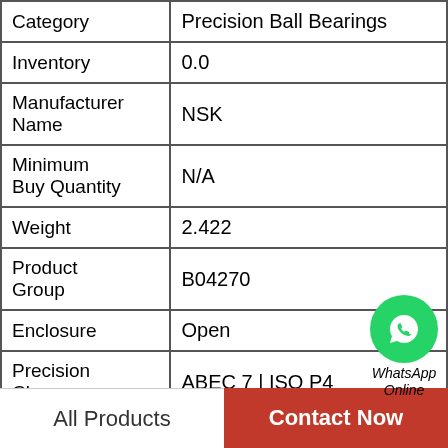| Field | Value |
| --- | --- |
| Category | Precision Ball Bearings |
| Inventory | 0.0 |
| Manufacturer Name | NSK |
| Minimum Buy Quantity | N/A |
| Weight | 2.422 |
| Product Group | B04270 |
| Enclosure | Open |
| Precision Class | ABEC 7 | ISO P4 |
| Material - Ball | Steel |
| Number of Bearings | 2 (1 Pair) |
| Contact Angle | 15 Degree |
[Figure (logo): WhatsApp Online button with green phone icon and italic text 'WhatsApp Online']
All Products
Contact Now